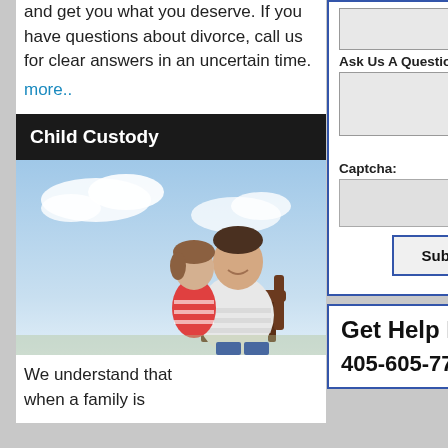and get you what you deserve. If you have questions about divorce, call us for clear answers in an uncertain time.
more..
Child Custody
[Figure (photo): Father and young daughter sitting outdoors in a chair, smiling, with sky in background]
We understand that when a family is
Ask Us A Question:
KFQW
Captcha:
Submit
Get Help Now
405-605-7771